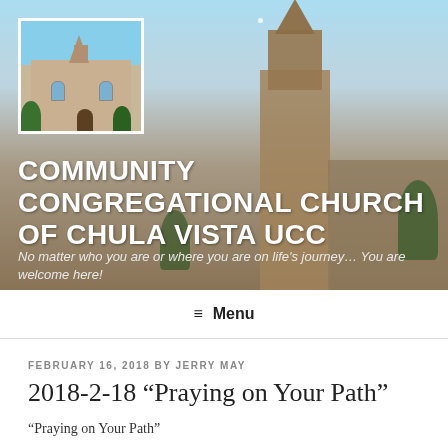[Figure (photo): Church building exterior with blue sky background; small thumbnail photo of church in upper left corner of banner]
COMMUNITY CONGREGATIONAL CHURCH OF CHULA VISTA UCC
No matter who you are or where you are on life’s journey… You are welcome here!
≡ Menu
FEBRUARY 16, 2018 BY JERRY MAY
2018-2-18 “Praying on Your Path”
“Praying on Your Path”